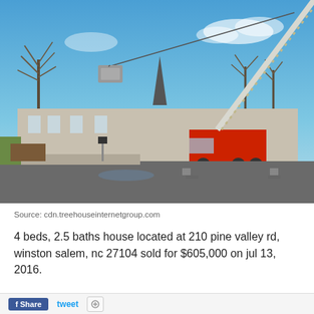[Figure (photo): Outdoor photo showing a large crane truck in a parking lot, lifting a box/unit into the air. Behind the crane is a low commercial building with a church steeple visible. Bare winter trees are in the background under a bright blue sky.]
Source: cdn.treehouseinternetgroup.com
4 beds, 2.5 baths house located at 210 pine valley rd, winston salem, nc 27104 sold for $605,000 on jul 13, 2016.
Share  tweet